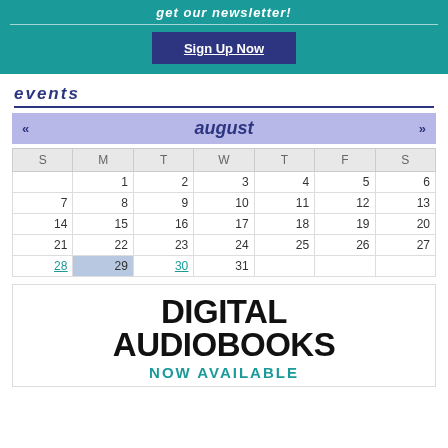get our newsletter!
Sign Up Now
events
| S | M | T | W | T | F | S |
| --- | --- | --- | --- | --- | --- | --- |
|  | 1 | 2 | 3 | 4 | 5 | 6 |
| 7 | 8 | 9 | 10 | 11 | 12 | 13 |
| 14 | 15 | 16 | 17 | 18 | 19 | 20 |
| 21 | 22 | 23 | 24 | 25 | 26 | 27 |
| 28 | 29 | 30 | 31 |  |  |  |
[Figure (other): Digital Audiobooks Now Available promotional banner with bold black text and teal subtitle]